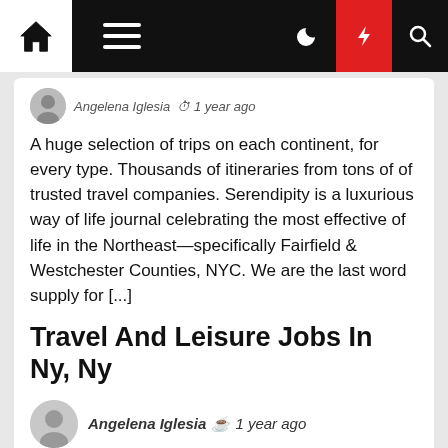Navigation bar with home, menu, dark mode, lightning, and search icons
Angelena Iglesia · 1 year ago
A huge selection of trips on each continent, for every type. Thousands of itineraries from tons of of trusted travel companies. Serendipity is a luxurious way of life journal celebrating the most effective of life in the Northeast—specifically Fairfield & Westchester Counties, NYC. We are the last word supply for [...]
Travel And Leisure Jobs In Ny, Ny
Angelena Iglesia · 1 year ago
Travel + Leisure Family Club reserves the right to